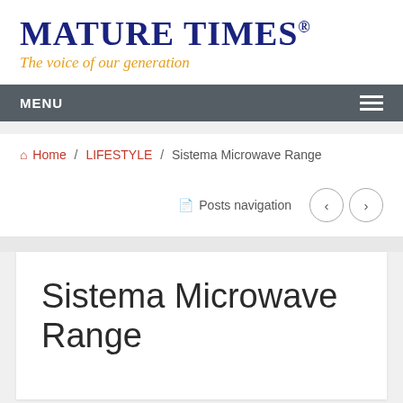MATURE TIMES®
The voice of our generation
MENU
🏠 Home / LIFESTYLE / Sistema Microwave Range
Posts navigation
Sistema Microwave Range